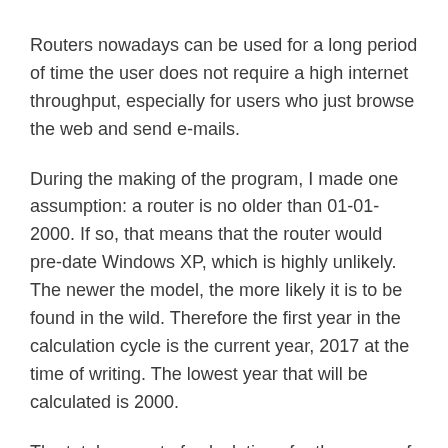Routers nowadays can be used for a long period of time the user does not require a high internet throughput, especially for users who just browse the web and send e-mails.
During the making of the program, I made one assumption: a router is no older than 01-01-2000. If so, that means that the router would pre-date Windows XP, which is highly unlikely. The newer the model, the more likely it is to be found in the wild. Therefore the first year in the calculation cycle is the current year, 2017 at the time of writing. The lowest year that will be calculated is 2000.
The total amount of calculations for the range of 2017 down to 2000 would be (17 * 52 000) 844 000 options. For modern computers, this is a matter of